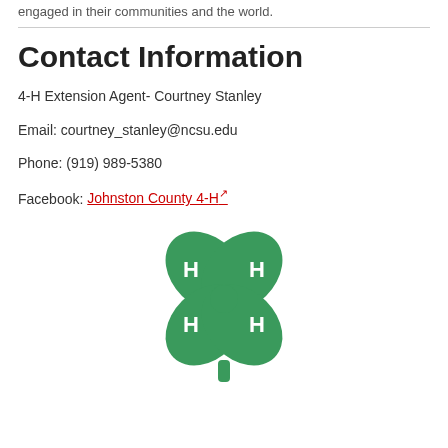engaged in their communities and the world.
Contact Information
4-H Extension Agent- Courtney Stanley
Email: courtney_stanley@ncsu.edu
Phone: (919) 989-5380
Facebook: Johnston County 4-H
[Figure (logo): 4-H four-leaf clover logo in green with H letters on each leaf]